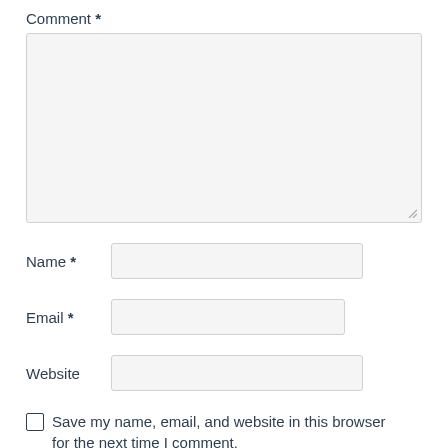Comment *
[Figure (other): Large textarea input box with resize handle in bottom right corner, light gray background]
Name *
Email *
Website
Save my name, email, and website in this browser for the next time I comment.